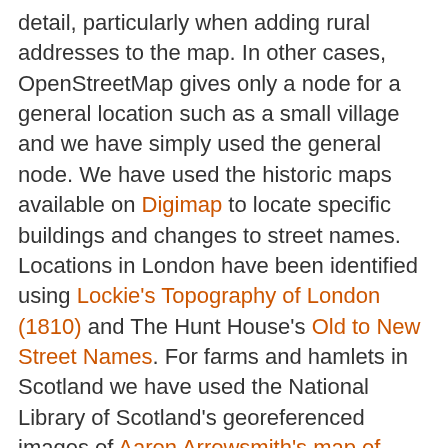detail, particularly when adding rural addresses to the map. In other cases, OpenStreetMap gives only a node for a general location such as a small village and we have simply used the general node. We have used the historic maps available on Digimap to locate specific buildings and changes to street names. Locations in London have been identified using Lockie's Topography of London (1810) and The Hunt House's Old to New Street Names. For farms and hamlets in Scotland we have used the National Library of Scotland's georeferenced images of Aaron Arrowsmith's map of 1807.

The regional and county outlines are based on data provided through EDINA